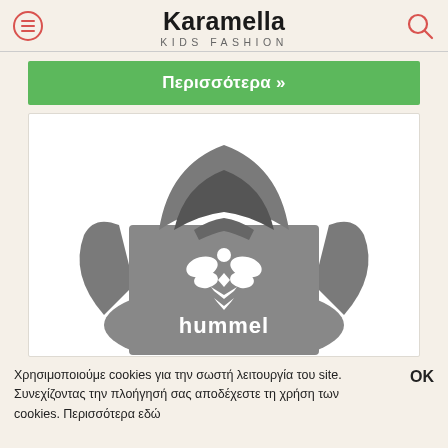Karamella Kids Fashion
Περισσότερα »
[Figure (photo): Grey Hummel hoodie sweatshirt with white Hummel logo on the chest, product photo on white background]
Χρησιμοποιούμε cookies για την σωστή λειτουργία του site. Συνεχίζοντας την πλοήγησή σας αποδέχεστε τη χρήση των cookies. Περισσότερα εδώ